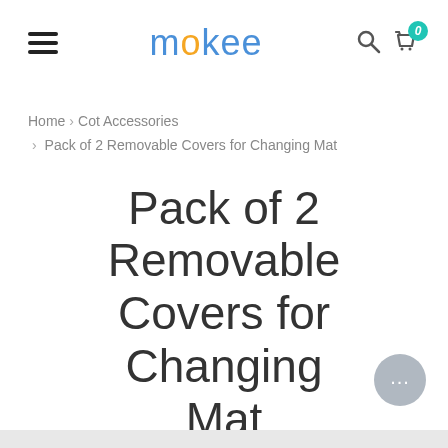mokee — navigation header with hamburger menu, logo, search icon, and cart icon (0 items)
Home > Cot Accessories > Pack of 2 Removable Covers for Changing Mat
Pack of 2 Removable Covers for Changing Mat